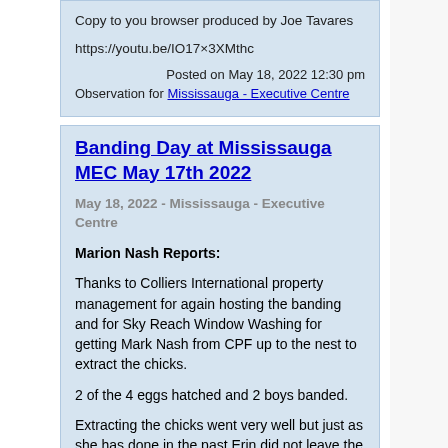Copy to you browser produced by Joe Tavares

https://youtu.be/IO17×3XMthc

Posted on May 18, 2022 12:30 pm
Observation for Mississauga - Executive Centre
Banding Day at Mississauga MEC May 17th 2022
May 18, 2022 - Mississauga - Executive Centre
Marion Nash Reports:
Thanks to Colliers International property management for again hosting the banding and for Sky Reach Window Washing for getting Mark Nash from CPF up to the nest to extract the chicks.
2 of the 4 eggs hatched and 2 boys banded.
Extracting the chicks went very well but just as she has done in the past Erin did not leave the nest and stood her ground